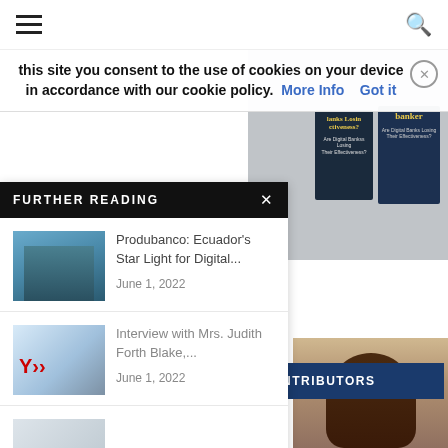≡  🔍
this site you consent to the use of cookies on your device in accordance with our cookie policy.  More Info    Got it
[Figure (illustration): Stack of two magazine covers with 'banker' text visible, dark blue covers with text and illustrations]
FURTHER READING
Produbanco: Ecuador's Star Light for Digital...
June 1, 2022
[Figure (photo): Modern glass office building exterior]
Interview with Mrs. Judith Forth Blake,...
June 1, 2022
[Figure (photo): Storefront with red Y66 logo sign, palm trees visible]
[Figure (photo): Faded building exterior photo]
May 31, 2022
NTRIBUTORS
[Figure (photo): Close-up of a person's head with dark brown hair, partially cropped]